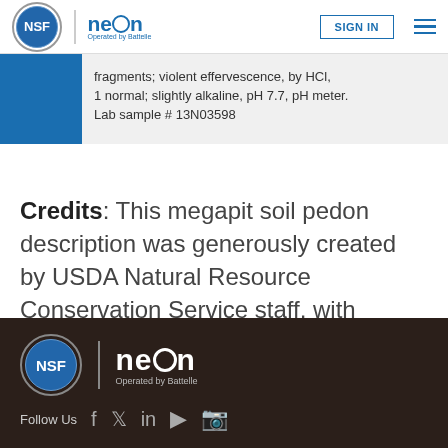NEON – Operated by Battelle | SIGN IN
fragments; violent effervescence, by HCl, 1 normal; slightly alkaline, pH 7.7, pH meter. Lab sample # 13N03598
Credits: This megapit soil pedon description was generously created by USDA Natural Resource Conservation Service staff, with particular thanks to Larry West, Jon Hempel, and numerous field staff.
NEON – Operated by Battelle | Follow Us [social icons]